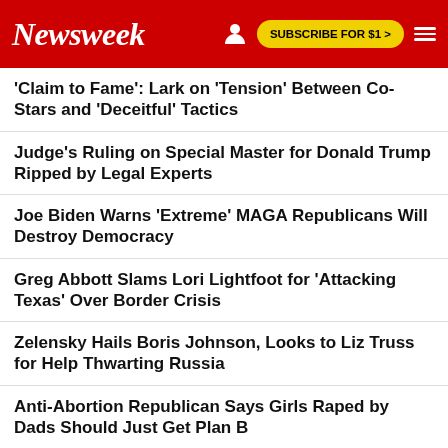Newsweek | SUBSCRIBE FOR $1 >
'Claim to Fame': Lark on 'Tension' Between Co-Stars and 'Deceitful' Tactics
Judge's Ruling on Special Master for Donald Trump Ripped by Legal Experts
Joe Biden Warns 'Extreme' MAGA Republicans Will Destroy Democracy
Greg Abbott Slams Lori Lightfoot for 'Attacking Texas' Over Border Crisis
Zelensky Hails Boris Johnson, Looks to Liz Truss for Help Thwarting Russia
Anti-Abortion Republican Says Girls Raped by Dads Should Just Get Plan B
Jim Jordan Says 'Real America' Mad at Student Loan